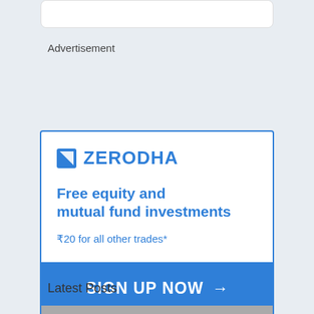Advertisement
[Figure (advertisement): Zerodha brokerage advertisement showing logo, tagline 'Free equity and mutual fund investments', subtext '₹20 for all other trades*', and a blue 'SIGN UP NOW →' call-to-action button]
Latest Posts